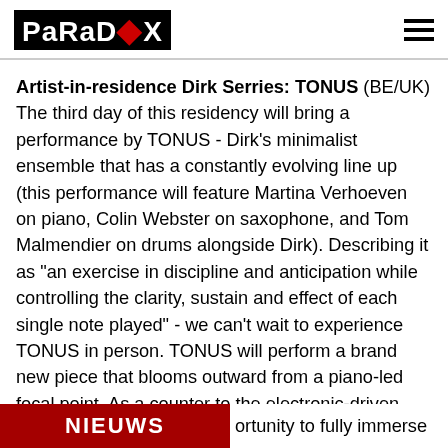PaRaDox
Artist-in-residence Dirk Serries: TONUS (BE/UK) The third day of this residency will bring a performance by TONUS - Dirk's minimalist ensemble that has a constantly evolving line up (this performance will feature Martina Verhoeven on piano, Colin Webster on saxophone, and Tom Malmendier on drums alongside Dirk). Describing it as “an exercise in discipline and anticipation while controlling the clarity, sustain and effect of each single note played” - we can’t wait to experience TONUS in person. TONUS will perform a brand new piece that blooms outward from a piano-led focal point. As a counter to the electronic-driven work that Dirk is best known for, TONUS offers an acoustic opportunity to fully immerse
NIEUWS